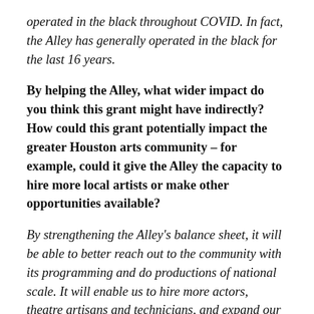operated in the black throughout COVID. In fact, the Alley has generally operated in the black for the last 16 years.
By helping the Alley, what wider impact do you think this grant might have indirectly? How could this grant potentially impact the greater Houston arts community – for example, could it give the Alley the capacity to hire more local artists or make other opportunities available?
By strengthening the Alley's balance sheet, it will be able to better reach out to the community with its programming and do productions of national scale. It will enable us to hire more actors, theatre artisans and technicians, and expand our